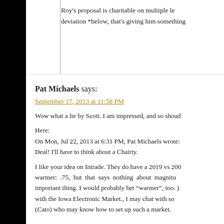Roy's proposal is charitable on multiple le deviation *below, that's giving him something
Pat Michaels says:
September 17, 2013 at 11:58 PM
Wow what a lie by Scott. I am impressed, and so shoud
Here:
On Mon, Jul 22, 2013 at 6:31 PM, Pat Michaels wrote:
Deal! I'll have to think about a Chairty.
I like your idea on Intrade. They do have a 2019 vs 200 warmer: .75, but that says nothing about magnitu important thing. I would probably bet “warmer”, too. ) with the Iowa Electronic Market., I may chat with so (Cato) who may know how to set up such a market.